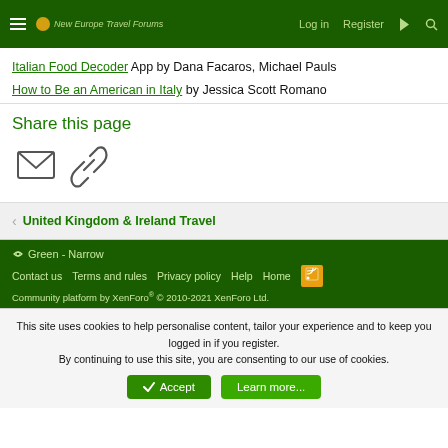New Europe Travel Forums — Log in  Register
Italian Food Decoder App by Dana Facaros, Michael Pauls
How to Be an American in Italy by Jessica Scott Romano
Share this page
< United Kingdom & Ireland Travel
Green - Narrow
Contact us  Terms and rules  Privacy policy  Help  Home  [RSS]
Community platform by XenForo® © 2010-2021 XenForo Ltd.
This site uses cookies to help personalise content, tailor your experience and to keep you logged in if you register. By continuing to use this site, you are consenting to our use of cookies.
Accept  Learn more...